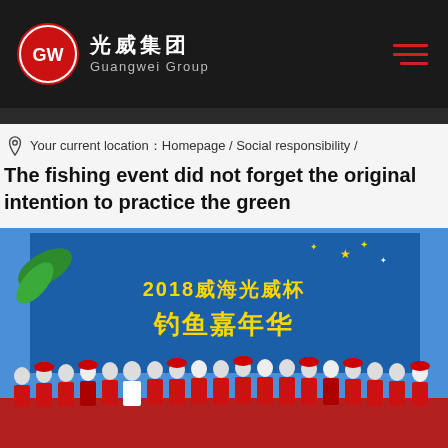光威集团 GW Guangwei Group
Your current location：Homepage / Social responsibility /
The fishing event did not forget the original intention to practice the green development of public welfare
[Figure (photo): Group photo of people wearing red vests and red caps standing in front of a blue banner that reads '2018威海光威杯钓鱼嘉年华']